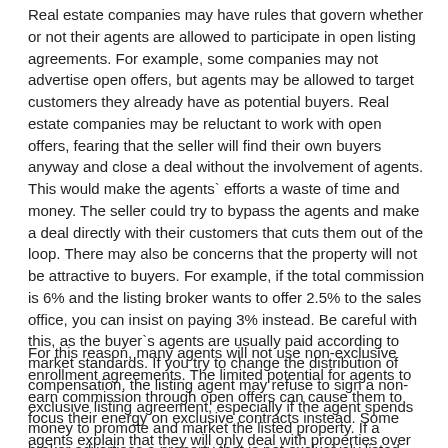Real estate companies may have rules that govern whether or not their agents are allowed to participate in open listing agreements. For example, some companies may not advertise open offers, but agents may be allowed to target customers they already have as potential buyers. Real estate companies may be reluctant to work with open offers, fearing that the seller will find their own buyers anyway and close a deal without the involvement of agents. This would make the agents` efforts a waste of time and money. The seller could try to bypass the agents and make a deal directly with their customers that cuts them out of the loop. There may also be concerns that the property will not be attractive to buyers. For example, if the total commission is 6% and the listing broker wants to offer 2.5% to the sales office, you can insist on paying 3% instead. Be careful with this, as the buyer`s agents are usually paid according to market standards. If you try to change the distribution of compensation, the listing agent may refuse to sign a non-exclusive listing agreement, especially if the agent spends money to promote and market the listed property. If a broker advertises a property that is not exclusively listed, they run the risk of the owner or other broker selling the property, leaving them with no way to recoup advertising and marketing costs.
For this reason, many agents will not use non-exclusive enrollment agreements. The limited potential for agents to earn commission through open offers can cause them to focus their energy on exclusive contracts instead. Some agents explain that they will only deal with properties over which they